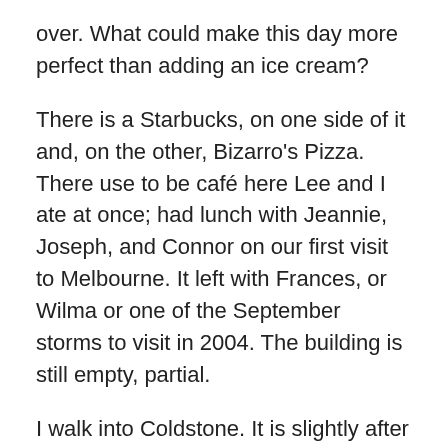over. What could make this day more perfect than adding an ice cream?
There is a Starbucks, on one side of it and, on the other, Bizarro's Pizza. There use to be café here Lee and I ate at once; had lunch with Jeannie, Joseph, and Connor on our first visit to Melbourne. It left with Frances, or Wilma or one of the September storms to visit in 2004. The building is still empty, partial.
I walk into Coldstone. It is slightly after twelve and it feels as though there have been few customers today. I ask the young lady behind the counter for plain ice cream with no fat and no sugar. They have ice cream with no flavouring; simply the taste of milk, crystalised, thick and solid. No sweetener. Why would milk need sugar? She is happy to oblige and what size? One cup. A small.